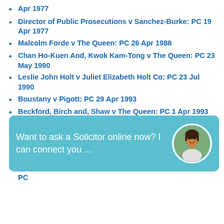Apr 1977
Director of Public Prosecutions v Sanchez-Burke: PC 19 Apr 1977
Malcolm Forde v The Queen: PC 26 Apr 1988
Chan Ho-Kuen And, Kwok Kam-Tong v The Queen: PC 23 May 1990
Leslie John Holt v Juliet Elizabeth Holt Co: PC 23 Jul 1990
Boustany v Pigott: PC 29 Apr 1993
Beckford, Birch and, Shaw v The Queen: PC 1 Apr 1993
Lim Boon Neov Arumugam Administrator of The Estate of Perumal Ramayee: PC 22 Jan 1990
David Hardy Glynn v The Commissioner of Inland Revenue Co: PC 22 Jan 1990
France and Bryant v Kennedy Alphonse Simmonds Co: PC 22 Feb 1988
[Figure (screenshot): Chat widget overlay with text 'Want to ask a Solicitor online now? I can connect you ...' on teal/cyan background with circular avatar photo of a woman smiling]